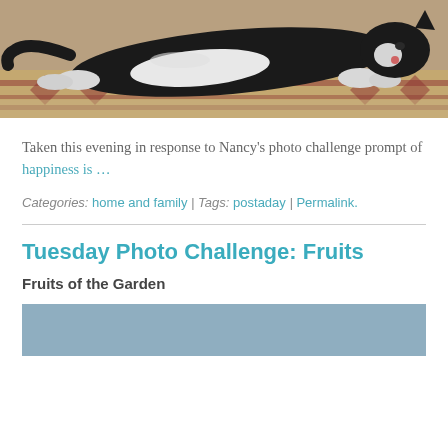[Figure (photo): A black and white cat lying stretched out on a patterned rug/carpet, photographed from above]
Taken this evening in response to Nancy's photo challenge prompt of happiness is …
Categories: home and family | Tags: postaday | Permalink.
Tuesday Photo Challenge: Fruits
Fruits of the Garden
[Figure (photo): Partially visible photo with blue-grey background, cropped at bottom of page]